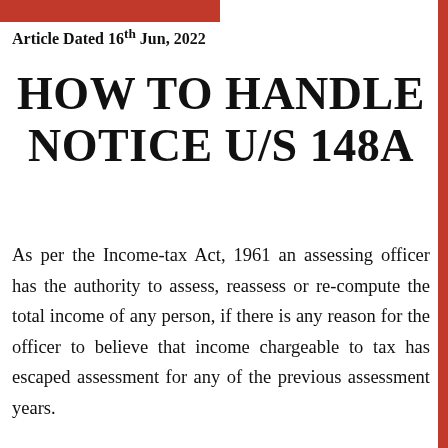Article Dated 16th Jun, 2022
HOW TO HANDLE NOTICE U/S 148A
As per the Income-tax Act, 1961 an assessing officer has the authority to assess, reassess or re-compute the total income of any person, if there is any reason for the officer to believe that income chargeable to tax has escaped assessment for any of the previous assessment years.
In the present times, The Income Tax Department has started reopening old assessment cases with the help of an algorithm. The I-T Department is leveraging ‘INSIGHT’, a platform that red flags the names of potential tax offenders after mining through large data to detect suspicious activity.